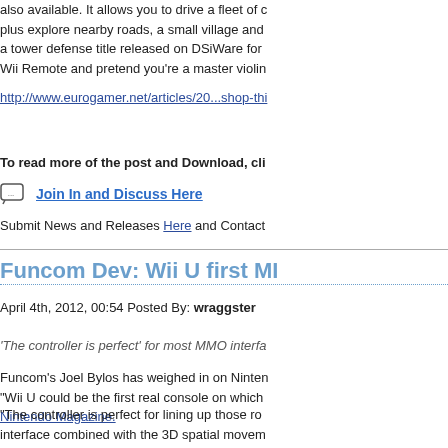also available. It allows you to drive a fleet of c plus explore nearby roads, a small village and a tower defense title released on DSiWare for Wii Remote and pretend you're a master violin
http://www.eurogamer.net/articles/20...shop-thi
To read more of the post and Download, cli
Join In and Discuss Here
Submit News and Releases Here and Contact
Funcom Dev: Wii U first MI
April 4th, 2012, 00:54 Posted By: wraggster
'The controller is perfect' for most MMO interfa
Funcom's Joel Bylos has weighed in on Ninten "Wii U could be the first real console on which Nintendo Magazine.
"The controller is perfect for lining up those ro interface combined with the 3D spatial movem Funcom is currently developing MMO The Sec produced titles like Anarchy Online and Age of